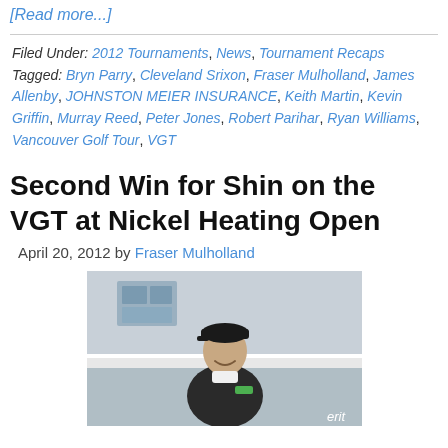[Read more...]
Filed Under: 2012 Tournaments, News, Tournament Recaps   Tagged: Bryn Parry, Cleveland Srixon, Fraser Mulholland, James Allenby, JOHNSTON MEIER INSURANCE, Keith Martin, Kevin Griffin, Murray Reed, Peter Jones, Robert Parihar, Ryan Williams, Vancouver Golf Tour, VGT
Second Win for Shin on the VGT at Nickel Heating Open
April 20, 2012 by Fraser Mulholland
[Figure (photo): Photo of a golfer (Shin) smiling, wearing a black jacket and white cap, standing outdoors near a white fence with a building in the background.]